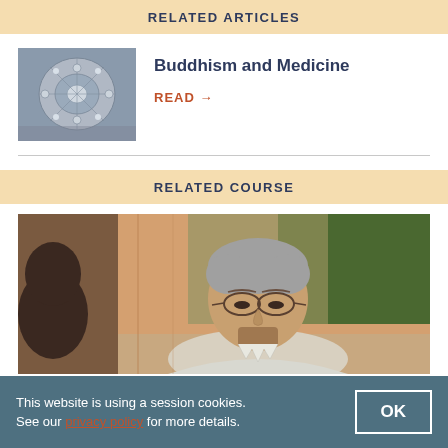RELATED ARTICLES
[Figure (photo): Thumbnail image of a mandala or Buddhist decorative artwork in grey/blue tones]
Buddhism and Medicine
READ →
RELATED COURSE
[Figure (photo): Photo of a middle-aged man with glasses and grey hair looking down, seated indoors near green trees]
This website is using a session cookies. See our privacy policy for more details.
OK